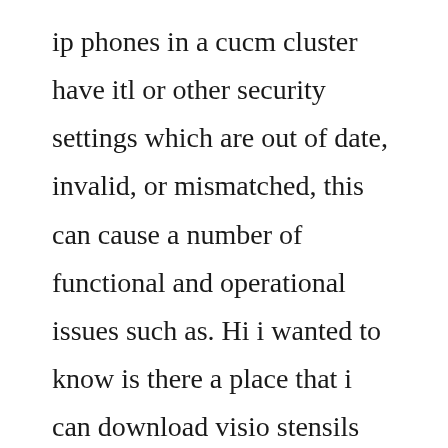ip phones in a cucm cluster have itl or other security settings which are out of date, invalid, or mismatched, this can cause a number of functional and operational issues such as. Hi i wanted to know is there a place that i can download visio stensils specific for unified communications. Cisco unified communications manager overflow vulnerabilities. Cisco cucm connector for work from homefield executives cisco cucm telephony setup is deployed at enterprise networkas per enterprise business requirement sales executiverelationship manger need to